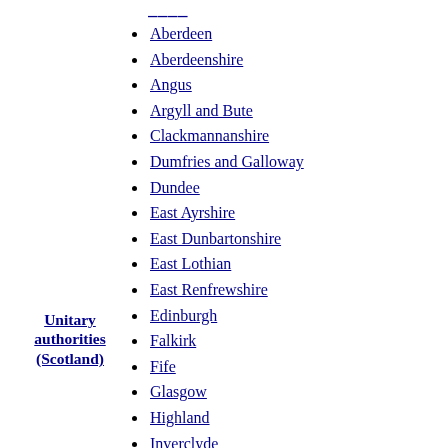(truncated top item)
Aberdeen
Aberdeenshire
Angus
Argyll and Bute
Clackmannanshire
Dumfries and Galloway
Dundee
East Ayrshire
East Dunbartonshire
East Lothian
East Renfrewshire
Edinburgh
Falkirk
Fife
Glasgow
Highland
Inverclyde
Midlothian
Moray
Na h-Eileanan Siar
North Ayrshire
North Lanarkshire
Orkney
Perth and Kinross
Unitary authorities (Scotland)